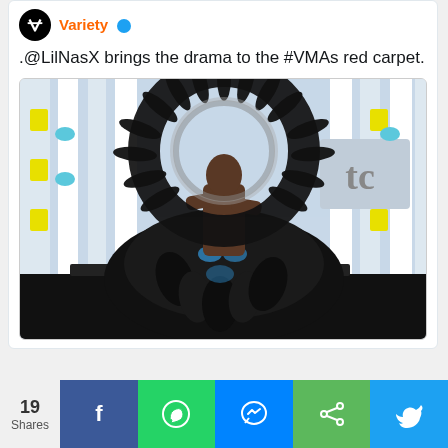[Figure (screenshot): Tweet from Variety account with Variety logo, verified badge, and text '.@LilNasX brings the drama to the #VMAs red carpet.' followed by a photo of Lil Nas X wearing an elaborate black feathered outfit with a dramatic halo headpiece at the VMAs red carpet.]
.@LilNasX brings the drama to the #VMAs red carpet.
[Figure (photo): Lil Nas X wearing an elaborate black feathered gown with a dramatic spiked feather halo headpiece at the VMAs red carpet, arms crossed, shirtless torso visible, standing in front of the MTV VMAs backdrop with yellow and blue decorations.]
19 Shares
[Figure (infographic): Social media share bar with 19 Shares count, followed by Facebook (blue), WhatsApp (green), Messenger (blue), Share (green), and Twitter (blue) buttons with their respective icons.]